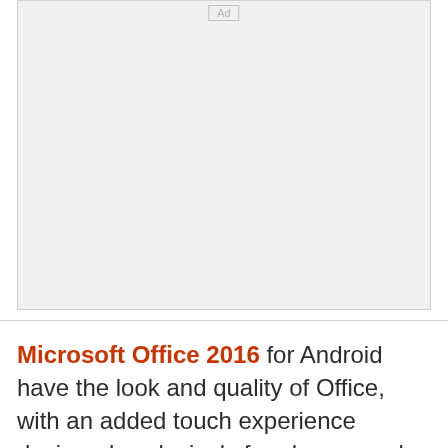[Figure (other): Advertisement placeholder box with 'Ad' label at top center, light gray background]
Microsoft Office 2016 for Android have the look and quality of Office, with an added touch experience designed exclusively for phones and tablets. The Office applications